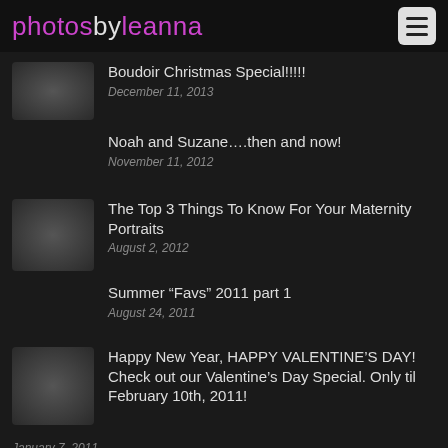photosbyleanna
Boudoir Christmas Special!!!!!
December 11, 2013
Noah and Suzane….then and now!
November 11, 2012
The Top 3 Things To Know For Your Maternity Portraits
August 2, 2012
Summer “Favs” 2011 part 1
August 24, 2011
Happy New Year, HAPPY VALENTINE’S DAY! Check out our Valentine’s Day Special. Only til February 10th, 2011!
January 7, 2011
Baby Boomer's Babies…..Having Babies
December 9, 2010